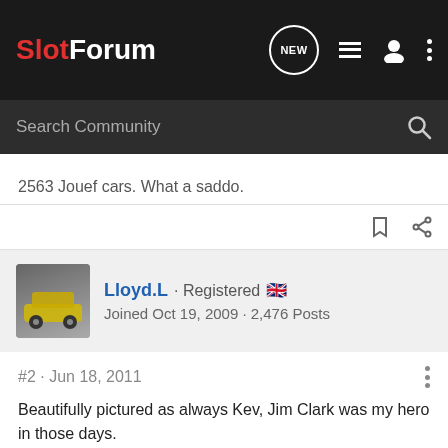SlotForum
Search Community
2563 Jouef cars. What a saddo.
Lloyd.L · Registered
Joined Oct 19, 2009 · 2,476 Posts
#2 · Jun 18, 2011
Beautifully pictured as always Kev, Jim Clark was my hero in those days.